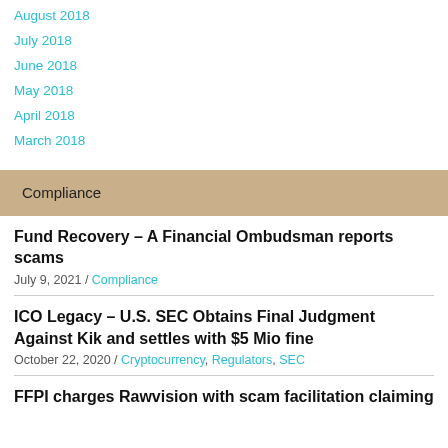August 2018
July 2018
June 2018
May 2018
April 2018
March 2018
Compliance
Fund Recovery – A Financial Ombudsman reports scams
July 9, 2021 / Compliance
ICO Legacy – U.S. SEC Obtains Final Judgment Against Kik and settles with $5 Mio fine
October 22, 2020 / Cryptocurrency, Regulators, SEC
FFPI charges Rawvision with scam facilitation claiming